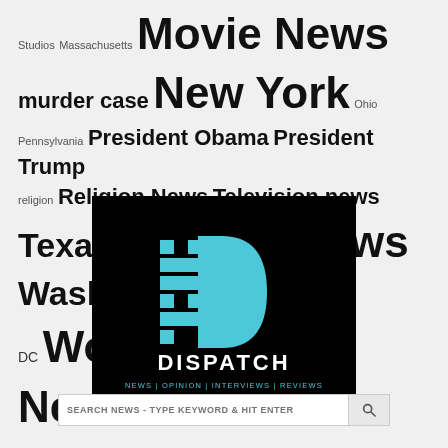Studios Massachusetts Movie News murder case New York Ohio Pennsylvania President Obama President Trump religion Religion News Television news Texas United Kingdom US News Washington Washington DC World News
[Figure (logo): Dispatch news website logo on black background. Shows a pixelated D letterform in light blue/cyan with a bold D shape beside it, text DISPATCH in white, and NEWS | OPINION | INTERVIEWS | REVIEWS in cyan below.]
SEARCH NEWS - TYPE KEYWORD & HIT ENTER